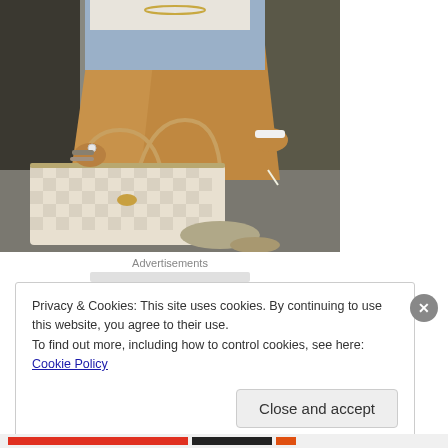[Figure (photo): A woman sitting outdoors wearing denim shorts and a white top, holding a cigarette. She has a Louis Vuitton Damier Azur Neverfull tote bag beside her, wearing strappy heeled sandals. Multiple bracelets and a white watch are visible.]
Advertisements
Privacy & Cookies: This site uses cookies. By continuing to use this website, you agree to their use.
To find out more, including how to control cookies, see here: Cookie Policy
Close and accept